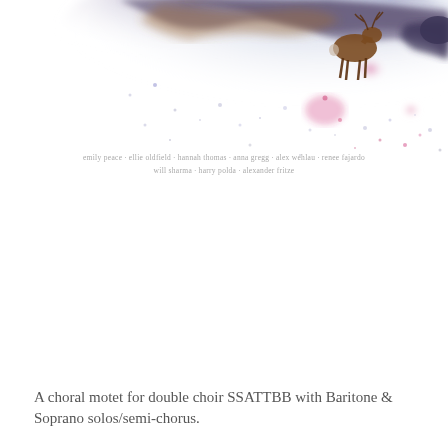[Figure (illustration): Watercolour painting of deer/stag animals in a misty forest landscape with blue, purple, pink and brown wash colours. The scene shows silhouettes of animals among abstract washes of colour fading to white at the bottom.]
emily peace · ellie oldfield · hannah thomas · anna gregg · alex wehlau · renee fajardo
will sharma · harry polda · alexander fritze
A choral motet for double choir SSATTBB with Baritone & Soprano solos/semi-chorus.